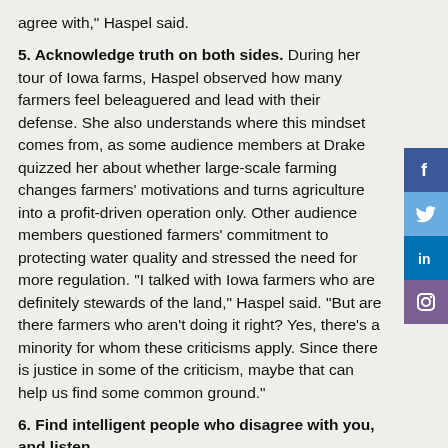agree with," Haspel said.
5. Acknowledge truth on both sides. During her tour of Iowa farms, Haspel observed how many farmers feel beleaguered and lead with their defense. She also understands where this mindset comes from, as some audience members at Drake quizzed her about whether large-scale farming changes farmers' motivations and turns agriculture into a profit-driven operation only. Other audience members questioned farmers' commitment to protecting water quality and stressed the need for more regulation. "I talked with Iowa farmers who are definitely stewards of the land," Haspel said. "But are there farmers who aren't doing it right? Yes, there's a minority for whom these criticisms apply. Since there is justice in some of the criticism, maybe that can help us find some common ground."
6. Find intelligent people who disagree with you, and listen.
"It's so easy for us to talk to people who agree with us."